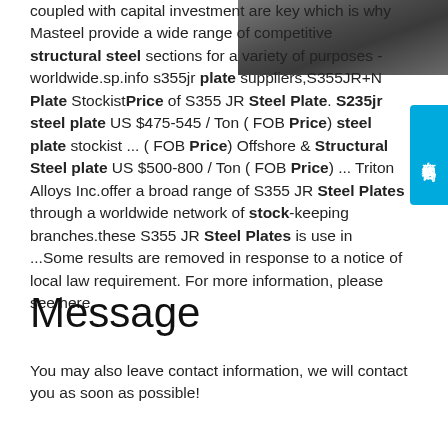[Figure (photo): Stacked steel plates, dark industrial photo shown in top right corner]
coupled with capital investment are key which is why Masteel provide a wide range of competitive structural steel sections for a variety of purposes - worldwide.sp.info s355jr plate suppliers,S355JR+N Plate StockistPrice of S355 JR Steel Plate. S235jr steel plate US $475-545 / Ton ( FOB Price) steel plate stockist ... ( FOB Price) Offshore & Structural Steel plate US $500-800 / Ton ( FOB Price) ... Triton Alloys Inc.offer a broad range of S355 JR Steel Plates through a worldwide network of stock-keeping branches.these S355 JR Steel Plates is use in ...Some results are removed in response to a notice of local law requirement. For more information, please see here.
Message
You may also leave contact information, we will contact you as soon as possible!